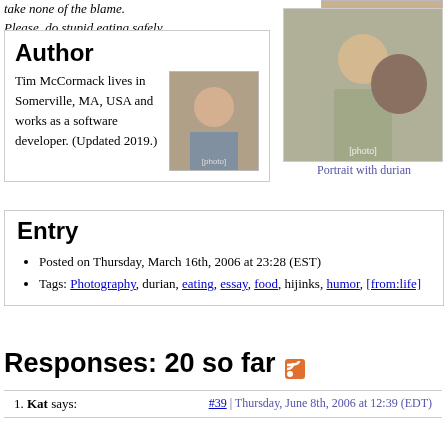take none of the blame. Please, do stupid eating safely.
[Figure (photo): Small photo at top right (partial crop)]
Author
[Figure (photo): Author photo - Tim McCormack headshot]
Tim McCormack lives in Somerville, MA, USA and works as a software developer. (Updated 2019.)
[Figure (photo): Portrait with durian - man holding a durian fruit]
Portrait with durian
Entry
Posted on Thursday, March 16th, 2006 at 23:28 (EST)
Tags: Photography, durian, eating, essay, food, hijinks, humor, [from:life]
Responses: 20 so far
1. Kat says: #39 | Thursday, June 8th, 2006 at 12:39 (EDT)